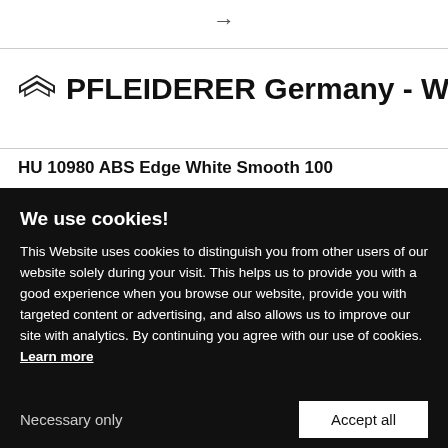[Figure (illustration): Right arrow navigation icon at top center of page]
PFLEIDERER Germany - W450 SM
HU 10980 ABS Edge White Smooth 100
We use cookies!
This Website uses cookies to distinguish you from other users of our website solely during your visit. This helps us to provide you with a good experience when you browse our website, provide you with targeted content or advertising, and also allows us to improve our site with analytics. By continuing you agree with our use of cookies. Learn more
Necessary only
Accept all